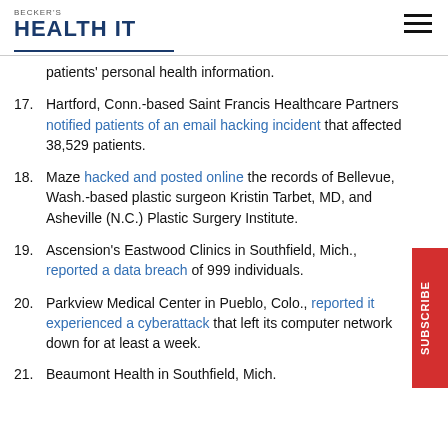BECKER'S HEALTH IT
patients' personal health information.
17. Hartford, Conn.-based Saint Francis Healthcare Partners notified patients of an email hacking incident that affected 38,529 patients.
18. Maze hacked and posted online the records of Bellevue, Wash.-based plastic surgeon Kristin Tarbet, MD, and Asheville (N.C.) Plastic Surgery Institute.
19. Ascension's Eastwood Clinics in Southfield, Mich., reported a data breach of 999 individuals.
20. Parkview Medical Center in Pueblo, Colo., reported it experienced a cyberattack that left its computer network down for at least a week.
21. Beaumont Health in Southfield, Mich.